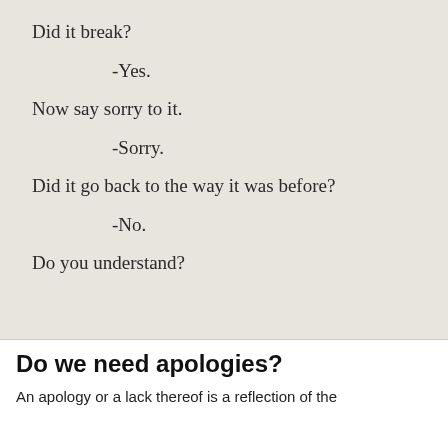[Figure (photo): Scanned book or printed page excerpt with dialogue text on a beige/cream background]
Did it break?
-Yes.
Now say sorry to it.
-Sorry.
Did it go back to the way it was before?
-No.
Do you understand?
Do we need apologies?
An apology or a lack thereof is a reflection of the